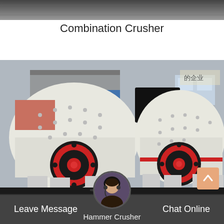[Figure (photo): Partial top image showing industrial/factory background (gray tones)]
Combination Crusher
[Figure (photo): Two large white and red Hammer Crusher machines on a factory floor with industrial background]
Hammer Crusher
Leave Message
Chat Online